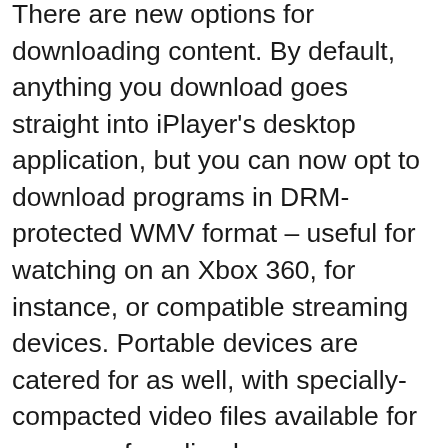There are new options for downloading content. By default, anything you download goes straight into iPlayer's desktop application, but you can now opt to download programs in DRM-protected WMV format – useful for watching on an Xbox 360, for instance, or compatible streaming devices. Portable devices are catered for as well, with specially-compacted video files available for a range of media players.